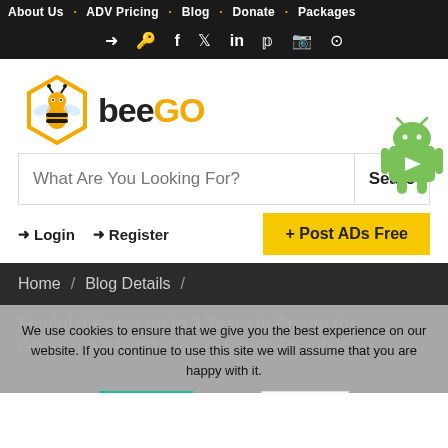About Us  ADV Pricing  Blog  Donate  Packages
[Figure (screenshot): Social media icon bar with login, unlock, facebook, twitter, linkedin, pinterest, instagram, reddit icons on dark background]
[Figure (logo): BeeGo logo - hexagon bee icon with 'bee' in dark text and 'GO' in orange/yellow text]
[Figure (screenshot): Search bar with placeholder 'What Are You Looking For?' and Search button with Android mascot overlaid]
Login  Register  + Post ADs Free
Home / Blog Details /
Feminist Faces up to 3 Years in Prison for Opposing Islamization in Czech Republic
We use cookies to ensure that we give you the best experience on our website. If you continue to use this site we will assume that you are happy with it.
Ok